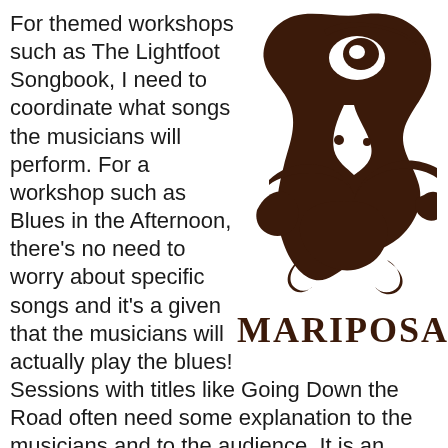For themed workshops such as The Lightfoot Songbook, I need to coordinate what songs the musicians will perform. For a workshop such as Blues in the Afternoon, there's no need to worry about specific songs and it's a given that the musicians will actually play the blues!
[Figure (logo): Mariposa festival logo: abstract swirling dark brown face/mask illustration above the word MARIPOSA in bold serif letters]
Sessions with titles like Going Down the Road often need some explanation to the musicians and to the audience. It is an arduous process scheduling performers for their festival concert as well as slotting them into four or five workshops where they also with the...